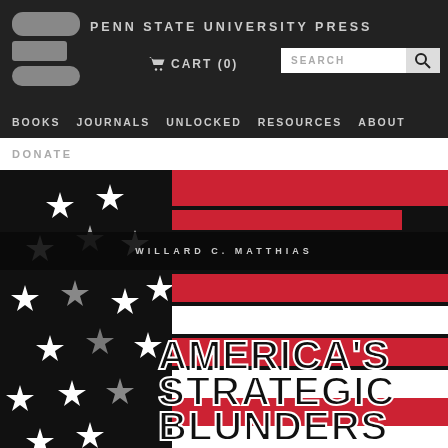PENN STATE UNIVERSITY PRESS
CART (0)
SEARCH
BOOKS   JOURNALS   UNLOCKED   RESOURCES   ABOUT
DONATE
[Figure (photo): Book cover of 'America's Strategic Blunders' by Willard C. Matthias, published by Penn State University Press. Cover features a stylized American flag with a black background on the left showing white and grey stars, and red and white horizontal stripes on the right. The author name 'WILLARD C. MATTHIAS' appears in a dark band across the middle, and the title 'AMERICA'S STRATEGIC BLUNDERS' is displayed in bold black and white text at the bottom right.]